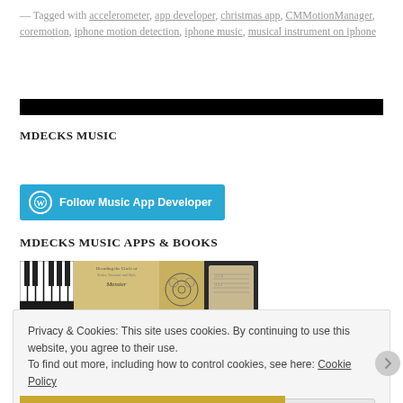— Tagged with accelerometer, app developer, christmas app, CMMotionManager, coremotion, iphone motion detection, iphone music, musical instrument on iphone
[Figure (other): Black horizontal bar / banner divider]
MDECKS MUSIC
[Figure (other): Blue 'Follow Music App Developer' button with WordPress circle icon]
MDECKS MUSIC APPS & BOOKS
[Figure (other): Collage of music app images including piano keys, sheet music, circle of fifths diagram, and handwritten score]
Privacy & Cookies: This site uses cookies. By continuing to use this website, you agree to their use.
To find out more, including how to control cookies, see here: Cookie Policy
Close and accept